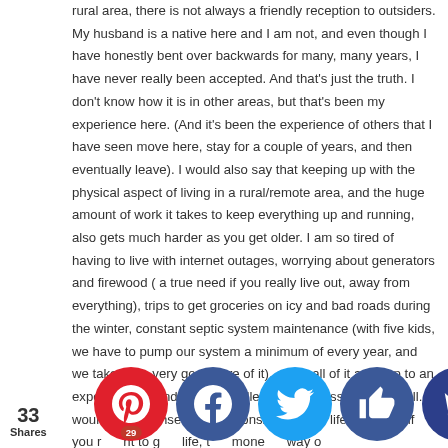rural area, there is not always a friendly reception to outsiders. My husband is a native here and I am not, and even though I have honestly bent over backwards for many, many years, I have never really been accepted. And that's just the truth. I don't know how it is in other areas, but that's been my experience here. (And it's been the experience of others that I have seen move here, stay for a couple of years, and then eventually leave). I would also say that keeping up with the physical aspect of living in a rural/remote area, and the huge amount of work it takes to keep everything up and running, also gets much harder as you get older. I am so tired of having to live with internet outages, worrying about generators and firewood ( a true need if you really live out, away from everything), trips to get groceries on icy and bad roads during the winter, constant septic system maintenance (with five kids, we have to pump our system a minimum of every year, and we take very, very good care of it), etc.....all of it adds up to an expensive life and one often filled with endless work as well. I would truly counsel anyone considering this life to decide if you r... ...t to g... ...life, t... ...mone... ...way o... It r... ...s not fo... ...one. To r... ...think a p... ...has the s...
33 Shares